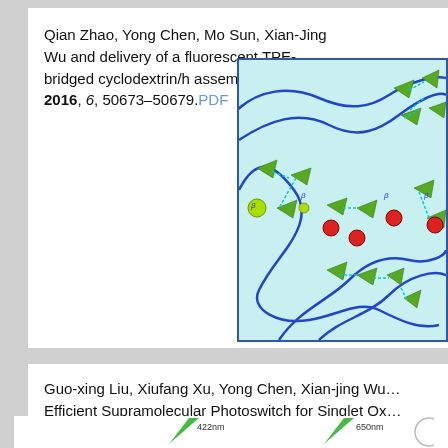Qian Zhao, Yong Chen, Mo Sun, Xian-Jing Wu and … delivery of a fluorescent TPE-bridged cyclodextrin/h… assembly" RSC Adv. 2016, 6, 50673–50679. PDF
[Figure (illustration): Molecular assembly diagram showing green wedge-shaped molecules connected by dashed cyan lines representing host-guest interactions, blue curvy lines representing polymer chains, and red spheres, all on a light cyan background with a blue border.]
Guo-xing Liu, Xiufang Xu, Yong Chen, Xian-jing Wu… Efficient Supramolecular Photoswitch for Singlet Ox… Commun. 2016, 52, 7966-7969. PDF
[Figure (illustration): Partial view of a molecular photoswitch diagram showing 422nm and 650nm wavelength labels with arrows.]